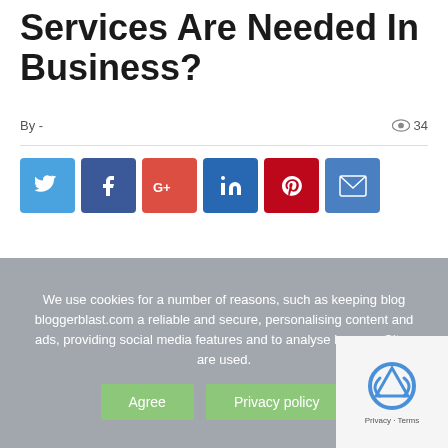Services Are Needed In Business?
By -  👁 34
[Figure (infographic): Six social media share buttons in a row: Twitter (blue), Facebook (dark blue), Google+ (red-orange), LinkedIn (blue), Pinterest (dark red), Email (blue)]
We use cookies for a number of reasons, such as keeping blog bloggerblast.com a reliable and secure, personalising content and ads, providing social media features and to analyse how our Sites are used.
Agree   Privacy policy